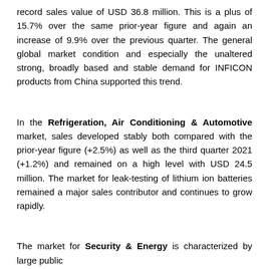record sales value of USD 36.8 million. This is a plus of 15.7% over the same prior-year figure and again an increase of 9.9% over the previous quarter. The general global market condition and especially the unaltered strong, broadly based and stable demand for INFICON products from China supported this trend.
In the Refrigeration, Air Conditioning & Automotive market, sales developed stably both compared with the prior-year figure (+2.5%) as well as the third quarter 2021 (+1.2%) and remained on a high level with USD 24.5 million. The market for leak-testing of lithium ion batteries remained a major sales contributor and continues to grow rapidly.
The market for Security & Energy is characterized by large public